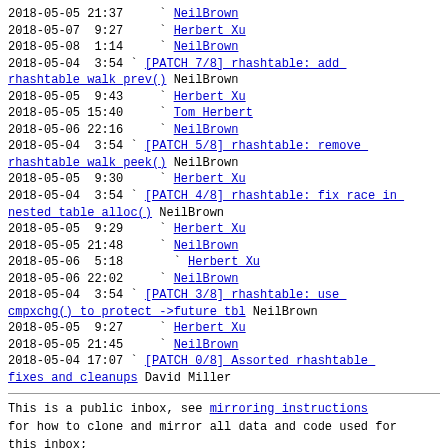2018-05-05 21:37    ` NeilBrown
2018-05-07  9:27    ` Herbert Xu
2018-05-08  1:14    ` NeilBrown
2018-05-04  3:54 ` [PATCH 7/8] rhashtable: add rhashtable walk prev() NeilBrown
2018-05-05  9:43    ` Herbert Xu
2018-05-05 15:40    ` Tom Herbert
2018-05-06 22:16    ` NeilBrown
2018-05-04  3:54 ` [PATCH 5/8] rhashtable: remove rhashtable walk peek() NeilBrown
2018-05-05  9:30    ` Herbert Xu
2018-05-04  3:54 ` [PATCH 4/8] rhashtable: fix race in nested table alloc() NeilBrown
2018-05-05  9:29    ` Herbert Xu
2018-05-05 21:48    ` NeilBrown
2018-05-06  5:18      ` Herbert Xu
2018-05-06 22:02    ` NeilBrown
2018-05-04  3:54 ` [PATCH 3/8] rhashtable: use cmpxchg() to protect ->future tbl NeilBrown
2018-05-05  9:27    ` Herbert Xu
2018-05-05 21:45    ` NeilBrown
2018-05-04 17:07 ` [PATCH 0/8] Assorted rhashtable fixes and cleanups David Miller
This is a public inbox, see mirroring instructions for how to clone and mirror all data and code used for this inbox;
as well as URLs for NNTP newsgroup(s).